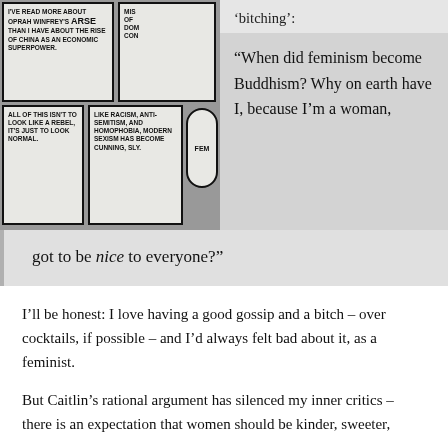[Figure (illustration): Comic strip panels with handwritten text. Top-left panel: 'I've read more about Oprah Winfrey's arse than I have about the rise of China as an economic superpower.' Top-right panel partially visible: 'Misuse of dom... con...' Bottom-left panel: 'All of this isn't to look like a rebel, it's just to look normal.' Bottom-middle panel: 'Like racism, anti-semitism, and homophobia, modern sexism has become cunning, sly.' Bottom-right panel: oval shape with 'FEM' partial text.]
‘bitching’:
“When did feminism become Buddhism? Why on earth have I, because I’m a woman,
got to be nice to everyone?”
I’ll be honest: I love having a good gossip and a bitch – over cocktails, if possible – and I’d always felt bad about it, as a feminist.
But Caitlin’s rational argument has silenced my inner critics – there is an expectation that women should be kinder, sweeter,